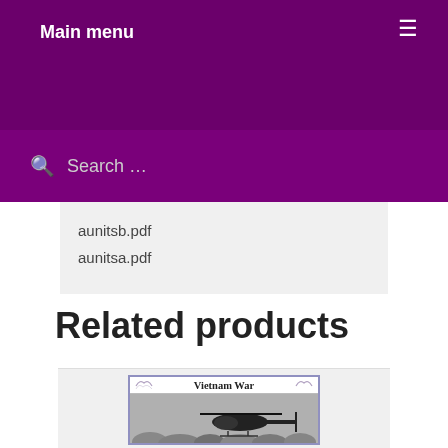Main menu
Search …
aunitsb.pdf
aunitsa.pdf
Related products
[Figure (photo): Book cover for 'Vietnam War' showing a helicopter flying over trees in a black and white photograph]